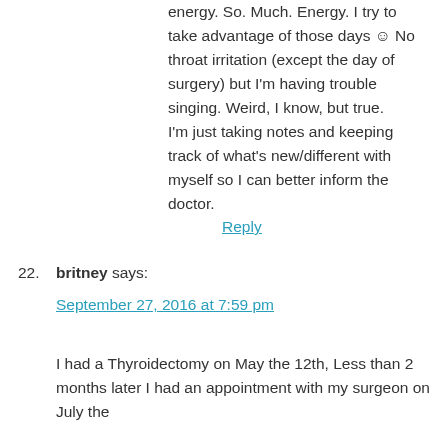energy. So. Much. Energy. I try to take advantage of those days ☺ No throat irritation (except the day of surgery) but I'm having trouble singing. Weird, I know, but true.
I'm just taking notes and keeping track of what's new/different with myself so I can better inform the doctor.
Reply
22. britney says:
September 27, 2016 at 7:59 pm
I had a Thyroidectomy on May the 12th, Less than 2 months later I had an appointment with my surgeon on July the